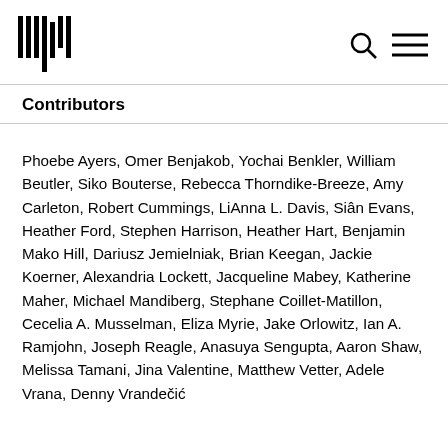[Logo and navigation icons]
Contributors
Phoebe Ayers, Omer Benjakob, Yochai Benkler, William Beutler, Siko Bouterse, Rebecca Thorndike-Breeze, Amy Carleton, Robert Cummings, LiAnna L. Davis, Siân Evans, Heather Ford, Stephen Harrison, Heather Hart, Benjamin Mako Hill, Dariusz Jemielniak, Brian Keegan, Jackie Koerner, Alexandria Lockett, Jacqueline Mabey, Katherine Maher, Michael Mandiberg, Stephane Coillet-Matillon, Cecelia A. Musselman, Eliza Myrie, Jake Orlowitz, Ian A. Ramjohn, Joseph Reagle, Anasuya Sengupta, Aaron Shaw, Melissa Tamani, Jina Valentine, Matthew Vetter, Adele Vrana, Denny Vrandečić